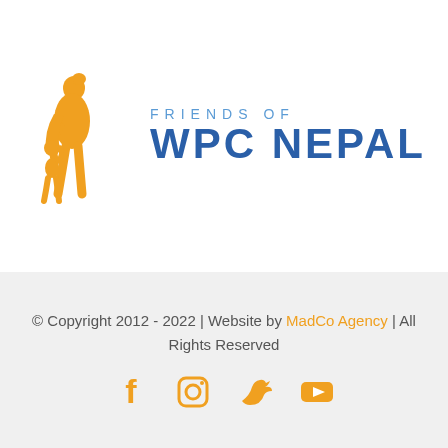[Figure (logo): Friends of WPC Nepal logo with orange silhouette of woman and child holding hands, and blue text 'FRIENDS OF WPC NEPAL']
© Copyright 2012 - 2022 | Website by MadCo Agency | All Rights Reserved
[Figure (infographic): Social media icons: Facebook, Instagram, Twitter, YouTube in orange color]